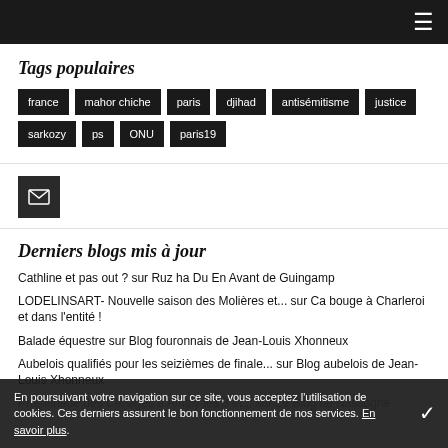≡
Tags populaires
france
mahor chiche
paris
djihad
antisémitisme
justice
sarkozy
ps
ONU
paris19
[Figure (other): Email/envelope icon button]
Derniers blogs mis à jour
Cathline et pas out ? sur Ruz ha Du En Avant de Guingamp
LODELINSART- Nouvelle saison des Molières et... sur Ca bouge à Charleroi et dans l'entité !
Balade équestre sur Blog fouronnais de Jean-Louis Xhonneux
Aubelois qualifiés pour les seizièmes de finale... sur Blog aubelois de Jean-Louis Xhonneux
Promenade des Cénages à Ambly les 8 et... sur Le Blog de Nassogne
En poursuivant votre navigation sur ce site, vous acceptez l'utilisation de cookies. Ces derniers assurent le bon fonctionnement de nos services. En savoir plus.